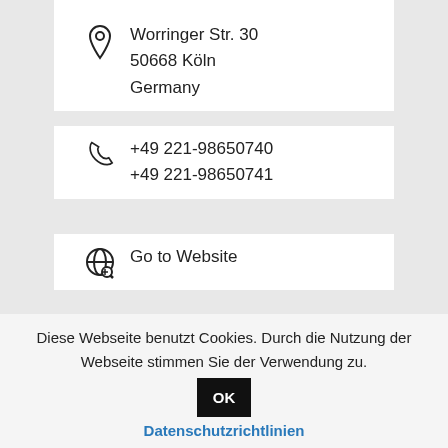Worringer Str. 30
50668 Köln
Germany
+49 221-98650740
+49 221-98650741
Go to Website
Contact supplier
[Figure (map): Google Maps screenshot showing Hotel Viktoria Köln location with a pink map pin, an orange restaurant icon, and road/building details.]
Diese Webseite benutzt Cookies. Durch die Nutzung der Webseite stimmen Sie der Verwendung zu. OK
Datenschutzrichtlinien